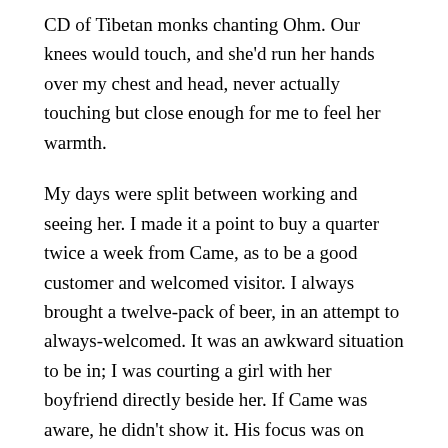CD of Tibetan monks chanting Ohm. Our knees would touch, and she'd run her hands over my chest and head, never actually touching but close enough for me to feel her warmth.
My days were split between working and seeing her. I made it a point to buy a quarter twice a week from Came, as to be a good customer and welcomed visitor. I always brought a twelve-pack of beer, in an attempt to always-welcomed. It was an awkward situation to be in; I was courting a girl with her boyfriend directly beside her. If Came was aware, he didn't show it. His focus was on dealing and video games.
One day, Cambridge was playing a live shooter game. He was threatening someone through his headset. I sat on the couch, stoned as ever, watching him and waiting for